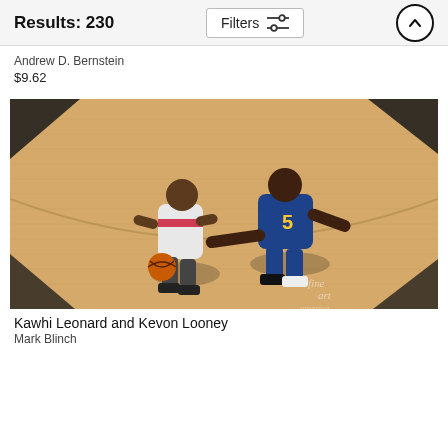Results: 230
Andrew D. Bernstein
$9.62
[Figure (photo): Aerial view of two NBA basketball players on a hardwood court. One player in a white Toronto Raptors jersey dribbling the ball, another in a blue and yellow Golden State Warriors jersey number 5 (Kevon Looney) reaching to defend. Fine Art America watermark visible in bottom right corner.]
Kawhi Leonard and Kevon Looney
Mark Blinch